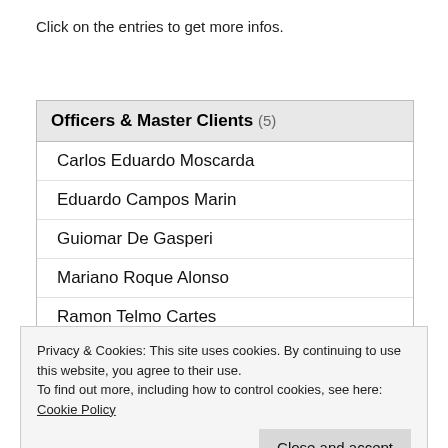Click on the entries to get more infos.
| Officers & Master Clients (5) |
| --- |
| Carlos Eduardo Moscarda |
| Eduardo Campos Marin |
| Guiomar De Gasperi |
| Mariano Roque Alonso |
| Ramon Telmo Cartes |
Privacy & Cookies: This site uses cookies. By continuing to use this website, you agree to their use.
To find out more, including how to control cookies, see here: Cookie Policy
Close and accept